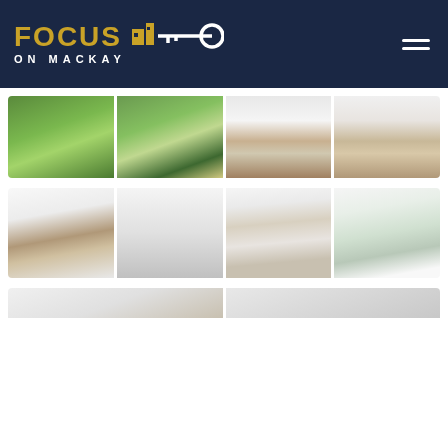[Figure (logo): Focus on Mackay real estate agency logo with key icon on dark navy background]
[Figure (photo): Grid of 4 property exterior and interior photos — front yard with lawn, backyard path, living room with black leather sofa, living room with TV]
[Figure (photo): Grid of 4 interior photos — lounge room, modern white kitchen, kitchen with island bench, dining area with outdoor view]
[Figure (photo): Partial row of additional property interior photos]